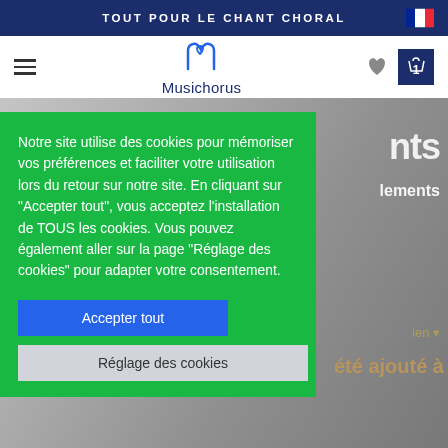TOUT POUR LE CHANT CHORAL
[Figure (logo): Musichorus logo with stylized M and text]
Notre site utilise des cookies pour mémoriser vos préférences et faciliter votre utilisation lors du retour sur notre site. En cliquant sur "Accepter tout", vous acceptez l'installation de TOUS les cookies. Vous pouvez également aller sur la page "Réglage des cookies" pour adapter votre consentement.
Accepter tout
Réglage des cookies
été ajouté à